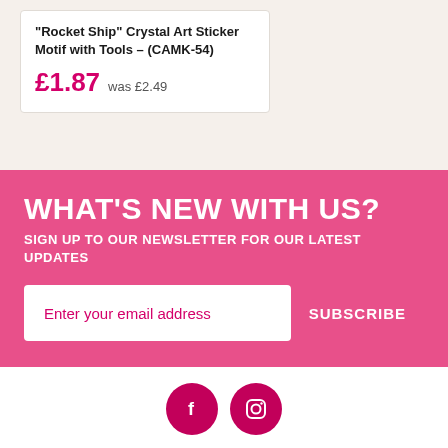"Rocket Ship" Crystal Art Sticker Motif with Tools – (CAMK-54)
£1.87 was £2.49
WHAT'S NEW WITH US?
SIGN UP TO OUR NEWSLETTER FOR OUR LATEST UPDATES
Enter your email address
SUBSCRIBE
[Figure (illustration): Facebook and Instagram social media icons as pink circles with white symbols]
HOME
ABOUT US